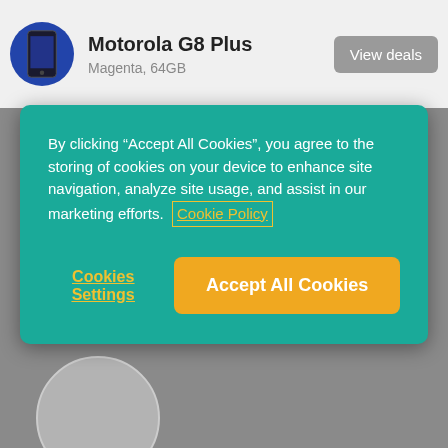Motorola G8 Plus, Magenta, 64GB
[Figure (screenshot): Cookie consent modal overlay on a product review page showing Motorola G8 Plus. Modal has teal background with text about cookie policy, a 'Cookie Policy' link, 'Cookies Settings' button, and 'Accept All Cookies' orange button. Behind the modal are rating sections for Camera quality, Screen quality, and Ease of use with segmented blue progress bars.]
By clicking “Accept All Cookies”, you agree to the storing of cookies on your device to enhance site navigation, analyze site usage, and assist in our marketing efforts. Cookie Policy
Cookies Settings
Accept All Cookies
Camera quality
Screen quality
Ease of use